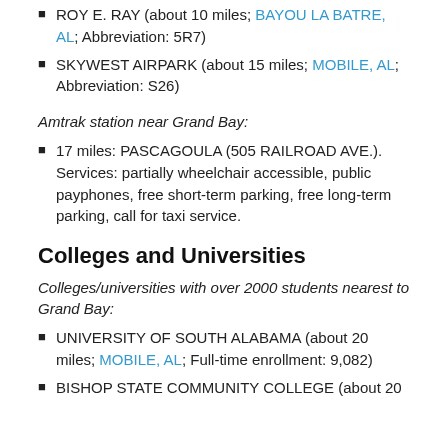ROY E. RAY (about 10 miles; BAYOU LA BATRE, AL; Abbreviation: 5R7)
SKYWEST AIRPARK (about 15 miles; MOBILE, AL; Abbreviation: S26)
Amtrak station near Grand Bay:
17 miles: PASCAGOULA (505 RAILROAD AVE.). Services: partially wheelchair accessible, public payphones, free short-term parking, free long-term parking, call for taxi service.
Colleges and Universities
Colleges/universities with over 2000 students nearest to Grand Bay:
UNIVERSITY OF SOUTH ALABAMA (about 20 miles; MOBILE, AL; Full-time enrollment: 9,082)
BISHOP STATE COMMUNITY COLLEGE (about 20 miles;